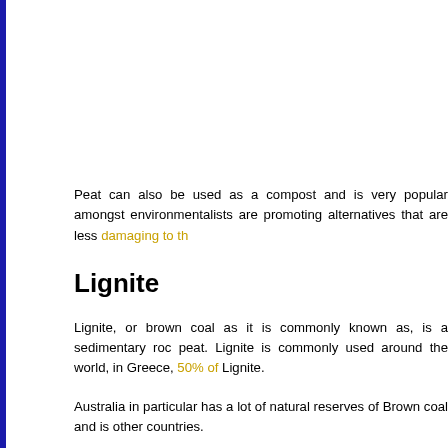Peat can also be used as a compost and is very popular amongst environmentalists are promoting alternatives that are less damaging to th
Lignite
Lignite, or brown coal as it is commonly known as, is a sedimentary roc peat. Lignite is commonly used around the world, in Greece, 50% of Lignite.
Australia in particular has a lot of natural reserves of Brown coal and is other countries.
Though Lignite is commonly used as a source for energy, the substanc when burnt compared to the other types of coal available.
Smokeless Coal
Smokeless Coal is produced by first putting the coal into ovens and hea Coal is then transferred into large containers of water where it is cooled. to be used later by the consumer, which is less damaging to the immed